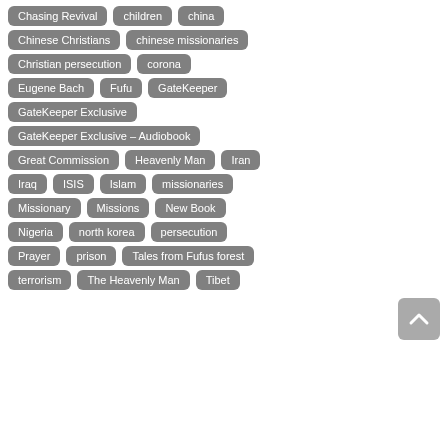Chasing Revival
children
china
Chinese Christians
chinese missionaries
Christian persecution
corona
Eugene Bach
Fufu
GateKeeper
GateKeeper Exclusive
GateKeeper Exclusive – Audiobook
Great Commission
Heavenly Man
Iran
Iraq
ISIS
Islam
missionaries
Missionary
Missions
New Book
Nigeria
north korea
persecution
Prayer
prison
Tales from Fufus forest
terrorism
The Heavenly Man
Tibet